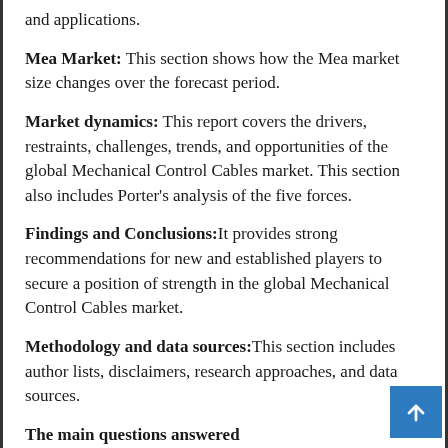and applications.
Mea Market: This section shows how the Mea market size changes over the forecast period.
Market dynamics: This report covers the drivers, restraints, challenges, trends, and opportunities of the global Mechanical Control Cables market. This section also includes Porter's analysis of the five forces.
Findings and Conclusions:It provides strong recommendations for new and established players to secure a position of strength in the global Mechanical Control Cables market.
Methodology and data sources:This section includes author lists, disclaimers, research approaches, and data sources.
The main questions answered
What will be the size and a year-on-year growth rate of the global...